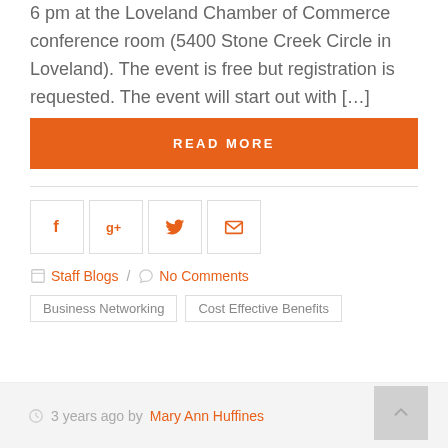6 pm at the Loveland Chamber of Commerce conference room (5400 Stone Creek Circle in Loveland). The event is free but registration is requested. The event will start out with […]
READ MORE
[Figure (infographic): Social share icons: Facebook, Google+, Twitter, Email]
Staff Blogs / No Comments
Business Networking   Cost Effective Benefits
3 years ago by Mary Ann Huffines